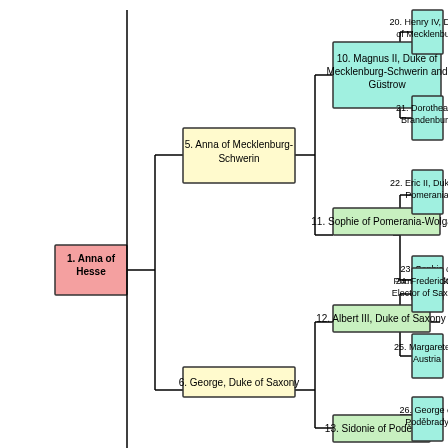[Figure (organizational-chart): Genealogical/ancestry chart showing the ancestors of Anna of Hesse. The chart branches rightward showing: 1. Anna of Hesse (root, pink), branching to 5. Anna of Mecklenburg-Schwerin (yellow) and 6. George, Duke of Saxony (yellow). Node 5 branches to 10. Magnus II, Duke of Mecklenburg-Schwerin and Güstrow (green) and 11. Sophie of Pomerania-Wolgast (light green). Node 10 branches to 20. Henry IV, Duke of Mecklenburg (green) and 21. Dorothea of Brandenburg (green). Node 11 branches to 22. Eric II, Duke of Pomerania (green) and 23. Sophia of Pomerania-Stolp (green). Node 6 branches to 12. Albert III, Duke of Saxony (light green) and 13. Sidonie of Poděbrady (light green). Node 12 branches to 24. Frederick II, Elector of Saxony (green) and 25. Margarete of Austria (green). Node 13 branches to 26. George of Poděbrady (green).]